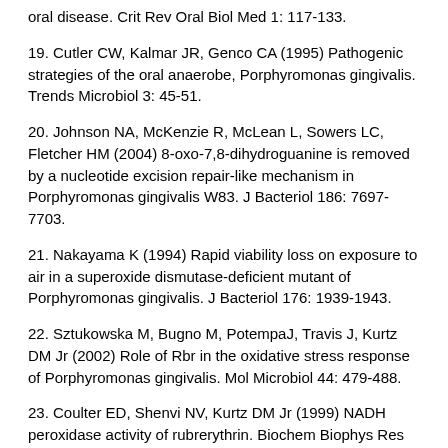oral disease. Crit Rev Oral Biol Med 1: 117-133.
19. Cutler CW, Kalmar JR, Genco CA (1995) Pathogenic strategies of the oral anaerobe, Porphyromonas gingivalis. Trends Microbiol 3: 45-51.
20. Johnson NA, McKenzie R, McLean L, Sowers LC, Fletcher HM (2004) 8-oxo-7,8-dihydroguanine is removed by a nucleotide excision repair-like mechanism in Porphyromonas gingivalis W83. J Bacteriol 186: 7697-7703.
21. Nakayama K (1994) Rapid viability loss on exposure to air in a superoxide dismutase-deficient mutant of Porphyromonas gingivalis. J Bacteriol 176: 1939-1943.
22. Sztukowska M, Bugno M, PotempaJ, Travis J, Kurtz DM Jr (2002) Role of Rbr in the oxidative stress response of Porphyromonas gingivalis. Mol Microbiol 44: 479-488.
23. Coulter ED, Shenvi NV, Kurtz DM Jr (1999) NADH peroxidase activity of rubrerythrin. Biochem Biophys Res Commun 255: 317-323.
24. Lumppio HL, Shenvi NV, Summers AO, Voordouw G,